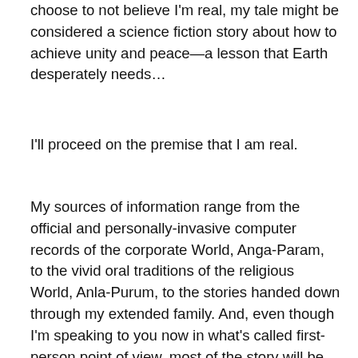choose to not believe I'm real, my tale might be considered a science fiction story about how to achieve unity and peace—a lesson that Earth desperately needs…
I'll proceed on the premise that I am real.
My sources of information range from the official and personally-invasive computer records of the corporate World, Anga-Param, to the vivid oral traditions of the religious World, Anla-Purum, to the stories handed down through my extended family. And, even though I'm speaking to you now in what's called first-person point of view, most of the story will be told in what writers call third-person omniscient, which means that the other people in this tale won't be the storytellers.  This is what writers on Earth use to give them more freedom of expression—jumping from an overall point of view to very personal